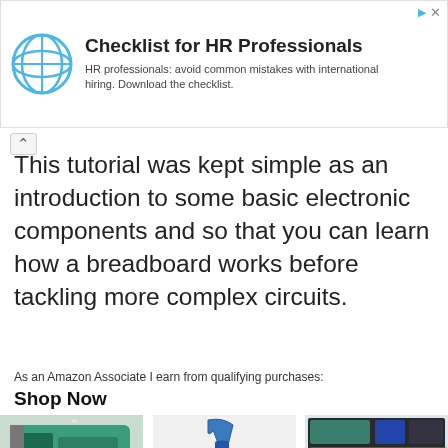[Figure (infographic): Advertisement banner for 'Checklist for HR Professionals' with a circular logo and text: HR professionals: avoid common mistakes with international hiring. Download the checklist.]
This tutorial was kept simple as an introduction to some basic electronic components and so that you can learn how a breadboard works before tackling more complex circuits.
As an Amazon Associate I earn from qualifying purchases:
Shop Now
[Figure (photo): Three product images: Arduino Uno board (teal/green), a black microcontroller board with blue USB cable, and an Arduino starter kit with components.]